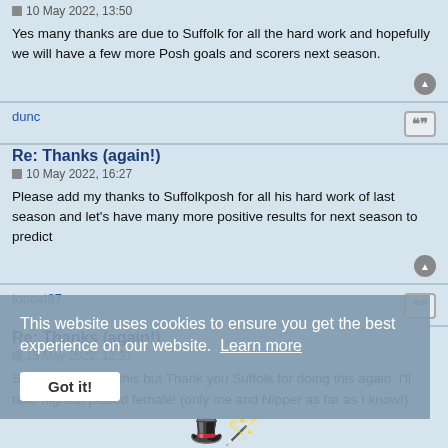Yes many thanks are due to Suffolk for all the hard work and hopefully we will have a few more Posh goals and scorers next season.
dunc
Re: Thanks (again!)
10 May 2022, 16:27
Please add my thanks to Suffolkposh for all his hard work of last season and let's have many more positive results for next season to predict
topcat87
Re: Thanks (again!)
15 May 2022, 12:31
Sorry I am late to this but Thank you Suffolk for doing this again. I'll take highest placed female! (only me and Nipper as far as I know!)
This website uses cookies to ensure you get the best experience on our website. Learn more Got it!